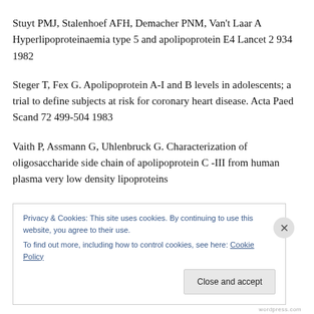Stuyt PMJ, Stalenhoef AFH, Demacher PNM, Van't Laar A Hyperlipoproteinaemia type 5 and apolipoprotein E4 Lancet 2 934 1982
Steger T, Fex G. Apolipoprotein A-I and B levels in adolescents; a trial to define subjects at risk for coronary heart disease. Acta Paed Scand 72 499-504 1983
Vaith P, Assmann G, Uhlenbruck G. Characterization of oligosaccharide side chain of apolipoprotein C -III from human plasma very low density lipoproteins
Privacy & Cookies: This site uses cookies. By continuing to use this website, you agree to their use. To find out more, including how to control cookies, see here: Cookie Policy